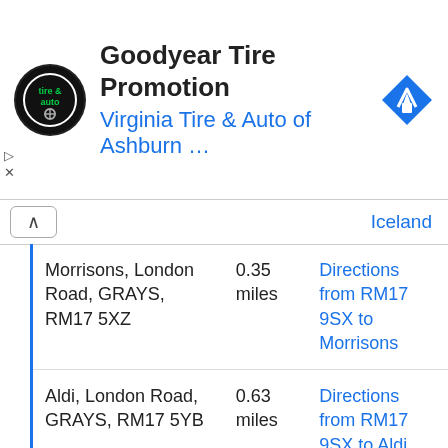[Figure (logo): Goodyear / Virginia Tire & Auto advertisement banner with circular logo, title 'Goodyear Tire Promotion', subtitle 'Virginia Tire & Auto of Ashburn …', and a blue navigation arrow icon]
Iceland
| Location | Distance | Directions |
| --- | --- | --- |
| Morrisons, London Road, GRAYS, RM17 5XZ | 0.35 miles | Directions from RM17 9SX to Morrisons |
| Aldi, London Road, GRAYS, RM17 5YB | 0.63 miles | Directions from RM17 9SX to Aldi |
| Asda, Thurrock Park Way, TILBURY | 1.57 miles | Directions from RM17 9SX to Asda |